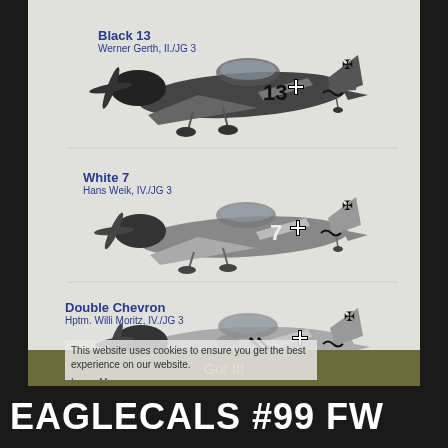[Figure (illustration): Three WWII German Focke-Wulf FW 190 aircraft profile illustrations. Top aircraft labeled 'Black 13', Werner Gerth, II./JG 3, showing aircraft number 13 with black and grey camouflage. Middle aircraft labeled 'White 7', Hans Weik, IV./JG 3, lighter grey camouflage. Bottom aircraft labeled 'Double Chevron', Hptm. Willi Moritz, IV./JG 3, mottled grey camouflage with double chevron marking.]
Black 13
Werner Gerth, II./JG 3
White 7
Hans Weik, IV./JG 3
Double Chevron
Hptm. Willi Moritz, IV./JG 3
This website uses cookies to ensure you get the best experience on our website.
Learn More
Got It!
EAGLECALS #99 FW